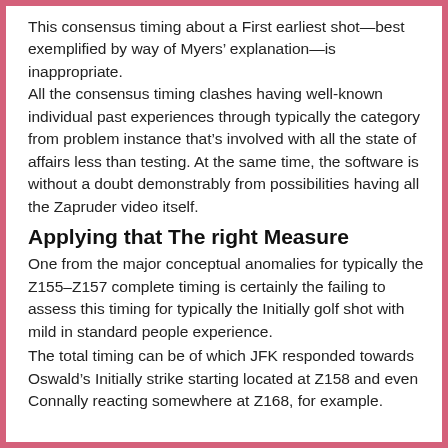This consensus timing about a First earliest shot—best exemplified by way of Myers' explanation—is inappropriate. All the consensus timing clashes having well-known individual past experiences through typically the category from problem instance that's involved with all the state of affairs less than testing. At the same time, the software is without a doubt demonstrably from possibilities having all the Zapruder video itself.
Applying that The right Measure
One from the major conceptual anomalies for typically the Z155–Z157 complete timing is certainly the failing to assess this timing for typically the Initially golf shot with mild in standard people experience.
The total timing can be of which JFK responded towards Oswald's Initially strike starting located at Z158 and even Connally reacting somewhere at Z168, for example.